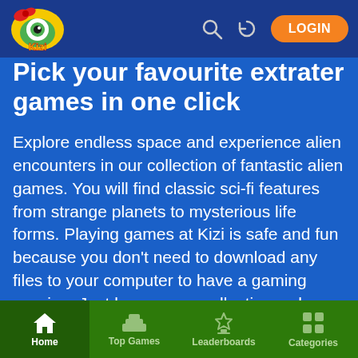[Figure (screenshot): Kizi gaming website header with logo, search icon, history icon, and LOGIN button on dark blue navbar]
Pick your favourite extraterrestrial games in one click
Explore endless space and experience alien encounters in our collection of fantastic alien games. You will find classic sci-fi features from strange planets to mysterious life forms. Playing games at Kizi is safe and fun because you don't need to download any files to your computer to have a gaming session. Just browse our collections, choose the game you like, and start playing immediately! At Kizi, the fun never stops!
Home | Top Games | Leaderboards | Categories